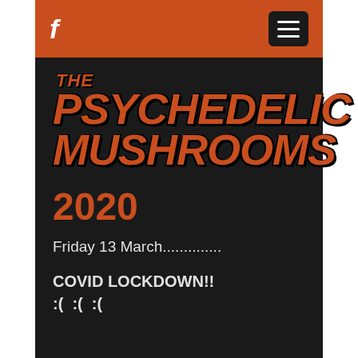f [Facebook icon] [hamburger menu]
[Figure (logo): The Psychedelic Mushrooms band logo in orange on black background, stylized bold italic retro lettering]
2020
Friday 13 March..............
COVID LOCKDOWN!!
:( :( :(